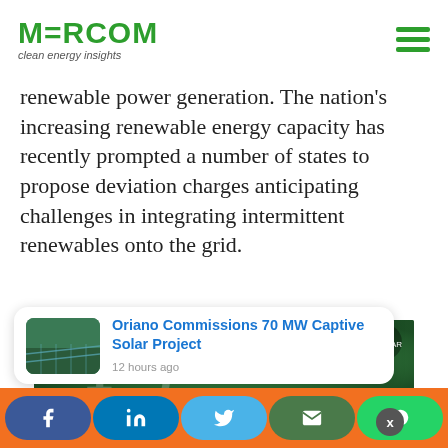MERCOM clean energy insights
renewable power generation. The nation's increasing renewable energy capacity has recently prompted a number of states to propose deviation charges anticipating challenges in integrating intermittent renewables onto the grid.
[Figure (photo): Sungrow advertisement banner showing large numbers/text on a green leafy background]
Cookies
To make this site work properly, we sometimes place small data files called cookies on your device. Most big websites do this too.
Oriano Commissions 70 MW Captive Solar Project
12 hours ago